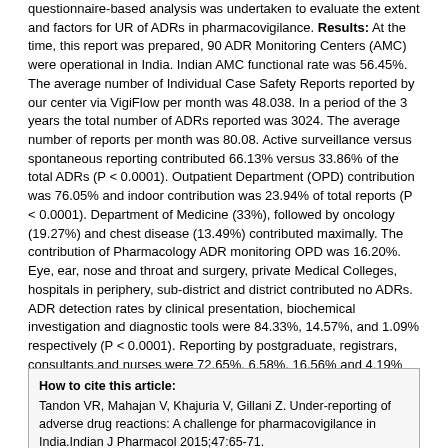questionnaire-based analysis was undertaken to evaluate the extent and factors for UR of ADRs in pharmacovigilance. Results: At the time, this report was prepared, 90 ADR Monitoring Centers (AMC) were operational in India. Indian AMC functional rate was 56.45%. The average number of Individual Case Safety Reports reported by our center via VigiFlow per month was 48.038. In a period of the 3 years the total number of ADRs reported was 3024. The average number of reports per month was 80.08. Active surveillance versus spontaneous reporting contributed 66.13% versus 33.86% of the total ADRs (P < 0.0001). Outpatient Department (OPD) contribution was 76.05% and indoor contribution was 23.94% of total reports (P < 0.0001). Department of Medicine (33%), followed by oncology (19.27%) and chest disease (13.49%) contributed maximally. The contribution of Pharmacology ADR monitoring OPD was 16.20%. Eye, ear, nose and throat and surgery, private Medical Colleges, hospitals in periphery, sub-district and district contributed no ADRs. ADR detection rates by clinical presentation, biochemical investigation and diagnostic tools were 84.33%, 14.57%, and 1.09% respectively (P < 0.0001). Reporting by postgraduate, registrars, consultants and nurses were 72.65%, 6.58%, 16.56% and 4.19% respectively (P < 0.0001). PG students in Pharmacology contributed an average number of 5.61 ADR reports/month. The lack of knowledge and awareness about Pharmacovigilance Programme of India (PvPI), lethargy, indifference, insecurity, complacency, workload, lack of training were the common factors responsible for UR. Major academic activity, exams, thesis and synopsis submission time influenced reporting of ADRs by postgraduate students. Conclusion: UR is a matter of concern PvPI. Multiple interventions are needed to improve ADR reporting.
How to cite this article: Tandon VR, Mahajan V, Khajuria V, Gillani Z. Under-reporting of adverse drug reactions: A challenge for pharmacovigilance in India.Indian J Pharmacol 2015;47:65-71.